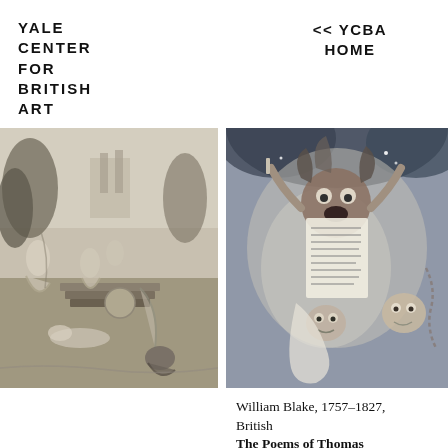YALE CENTER FOR BRITISH ART
<< YCBA HOME
[Figure (illustration): Monochrome engraving showing classical mythological scene with figures, trees, and architecture in background]
[Figure (illustration): Colorful illustration by William Blake showing fantastical figures including a screaming face and swirling forms with text page visible]
William Blake, 1757–1827, British
The Poems of Thomas